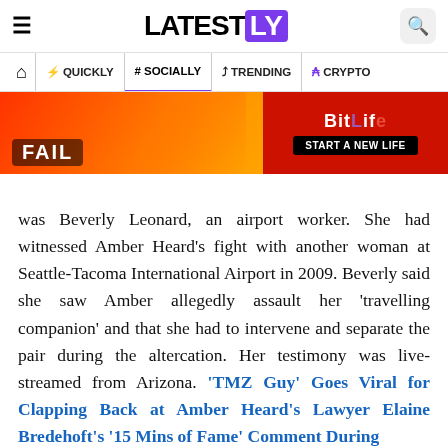LATESTLY
QUICKLY | # SOCIALLY | TRENDING | CRYPTO
[Figure (photo): Advertisement banner for BitLife game: 'FAIL' text on left with animated character, 'BitLife START A NEW LIFE' on right with red/orange background]
was Beverly Leonard, an airport worker. She had witnessed Amber Heard's fight with another woman at Seattle-Tacoma International Airport in 2009. Beverly said she saw Amber allegedly assault her 'travelling companion' and that she had to intervene and separate the pair during the altercation. Her testimony was live-streamed from Arizona. 'TMZ Guy' Goes Viral for Clapping Back at Amber Heard's Lawyer ElaineBredehoft's '15 Mins of Fame' Comment During